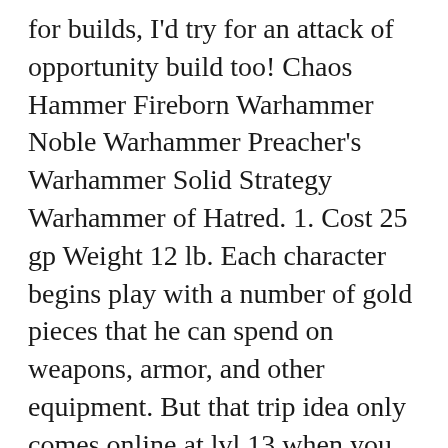for builds, I'd try for an attack of opportunity build too! Chaos Hammer Fireborn Warhammer Noble Warhammer Preacher's Warhammer Solid Strategy Warhammer of Hatred. 1. Cost 25 gp Weight 12 lb. Each character begins play with a number of gold pieces that he can spend on weapons, armor, and other equipment. But that trip idea only comes online at lvl 13 when you unlock Aspect of the Wolf, until then you're like a normal 2h reach Ranger! If you're a Human Ranger, that grants you 8 feats normally and 3 combat style feats (for Two-Handed I'd recommend Power Attack into Cleaving Finish into Dreadful Carnage, for Menacing I'd recommend Power Attack into Cornugon Smash into Shatter Defenses)! ... with